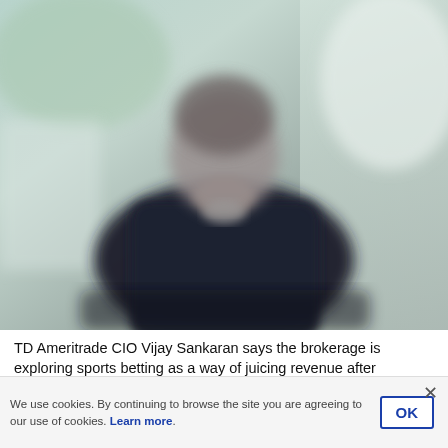[Figure (photo): Blurred portrait photo of a person (TD Ameritrade CIO Vijay Sankaran) wearing a dark jacket, standing against a light, blurred background with green and white tones.]
TD Ameritrade CIO Vijay Sankaran says the brokerage is exploring sports betting as a way of juicing revenue after eliminating trading fees. (Image: Wall Street Journal)
We use cookies. By continuing to browse the site you are agreeing to our use of cookies. Learn more.